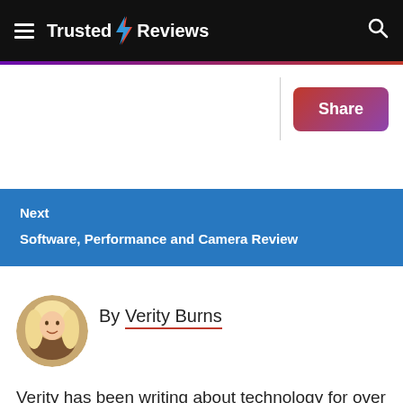Trusted Reviews
Share
Next
Software, Performance and Camera Review
[Figure (photo): Circular portrait photo of Verity Burns, a blonde woman]
By Verity Burns
Verity has been writing about technology for over a decade, and covers everything from smartphones to hair straighteners for Trusted Reviews. She has particular experience in audio and TV reviews, whi...